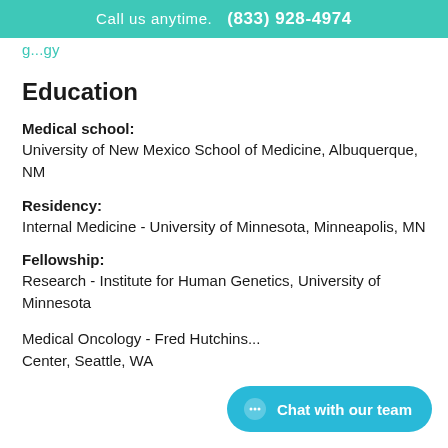Call us anytime. (833) 928-4974
g...gy
Education
Medical school:
University of New Mexico School of Medicine, Albuquerque, NM
Residency:
Internal Medicine - University of Minnesota, Minneapolis, MN
Fellowship:
Research - Institute for Human Genetics, University of Minnesota
Medical Oncology - Fred Hutchins... Center, Seattle, WA